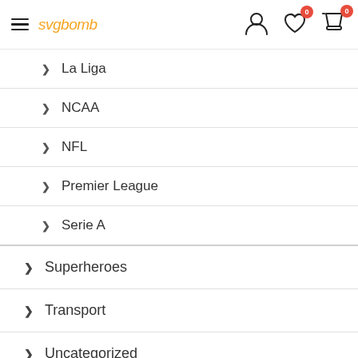svgbomb header with hamburger menu, user icon, wishlist (0), cart (0)
> La Liga
> NCAA
> NFL
> Premier League
> Serie A
> Superheroes
> Transport
> Uncategorized
> VIP PASS